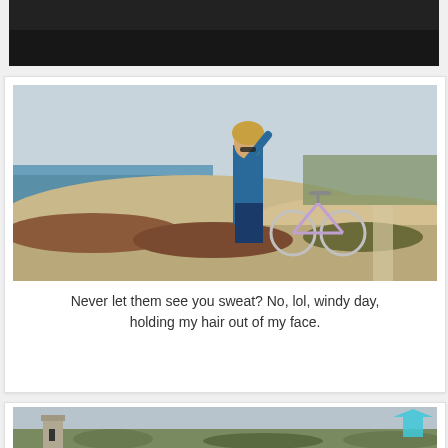[Figure (photo): Dark photo strip at top of page, appears to be an interior or low-light scene]
[Figure (photo): Woman in blue jacket standing next to a bicycle on a coastal path with sandy dunes and ocean in background on a windy day]
Never let them see you sweat? No, lol, windy day, holding my hair out of my face.
[Figure (photo): Coastal landscape with an old tower or structure on the left, flat scrubby terrain, overcast sky, with a cyan upward arrow overlay]